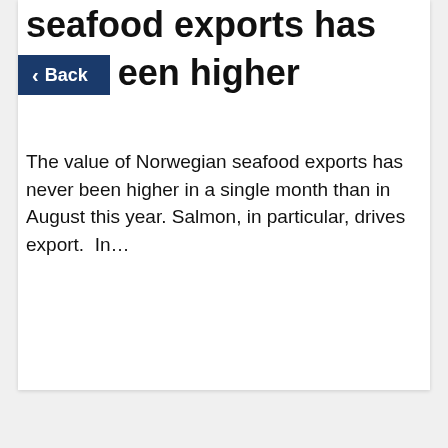seafood exports has been higher
The value of Norwegian seafood exports has never been higher in a single month than in August this year. Salmon, in particular, drives export.  In…